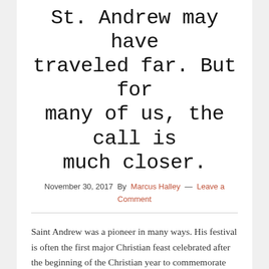St. Andrew may have traveled far. But for many of us, the call is much closer.
November 30, 2017 By Marcus Halley — Leave a Comment
Saint Andrew was a pioneer in many ways. His festival is often the first major Christian feast celebrated after the beginning of the Christian year to commemorate his status of being the “first called.”
As the Gospel of John recalls the story, Andrew was a disciple of John the Baptizer, the forerunner of Jesus. As Jesus walked by one day